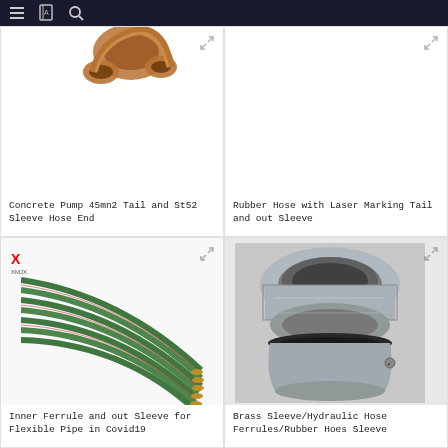Navigation header with menu, bookmark, and search icons
[Figure (photo): Partial view of copper pipe fittings/connectors from above]
Concrete Pump 45mn2 Tail and St52 Sleeve Hose End
[Figure (photo): White/blank area - Rubber Hose with Laser Marking product (image not visible in crop)]
Rubber Hose with Laser Marking Tail and out Sleeve
[Figure (photo): Bundle of green flexible hoses/pipes with brass fittings, XMJX logo visible]
Inner Ferrule and out Sleeve for Flexible Pipe in Covid19
[Figure (photo): Close-up of metal sleeve/ferrule component - silver aluminum cylindrical fitting]
Brass Sleeve/Hydraulic Hose Ferrules/Rubber Hoes Sleeve